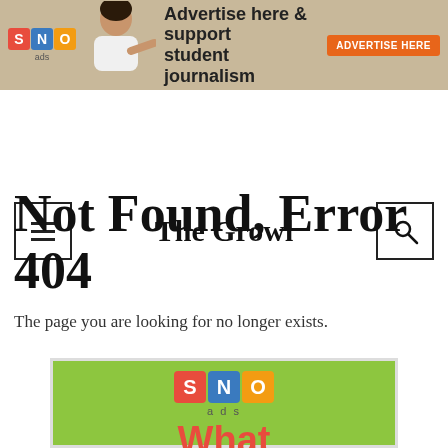[Figure (infographic): SNO ads banner: 'Advertise here & support student journalism' with orange 'ADVERTISE HERE' button and person pointing]
The Growl
Not Found, Error 404
The page you are looking for no longer exists.
[Figure (infographic): SNO ads promotional banner with green background showing SNO logo and 'What' text in red]